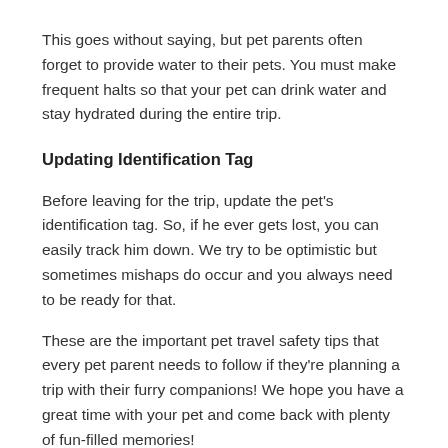This goes without saying, but pet parents often forget to provide water to their pets. You must make frequent halts so that your pet can drink water and stay hydrated during the entire trip.
Updating Identification Tag
Before leaving for the trip, update the pet's identification tag. So, if he ever gets lost, you can easily track him down. We try to be optimistic but sometimes mishaps do occur and you always need to be ready for that.
These are the important pet travel safety tips that every pet parent needs to follow if they're planning a trip with their furry companions! We hope you have a great time with your pet and come back with plenty of fun-filled memories!